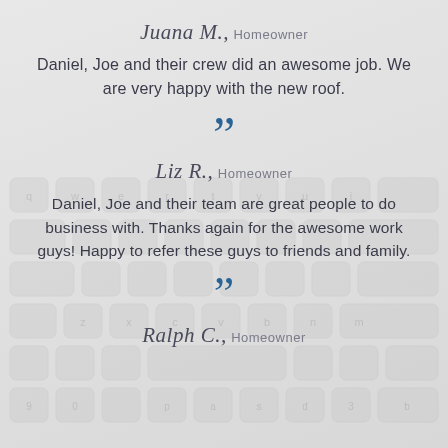Juana M., Homeowner
Daniel, Joe and their crew did an awesome job. We are very happy with the new roof.
Liz R., Homeowner
Daniel, Joe and their team are great people to do business with. Thanks again for the awesome work guys! Happy to refer these guys to friends and family.
Ralph C., Homeowner